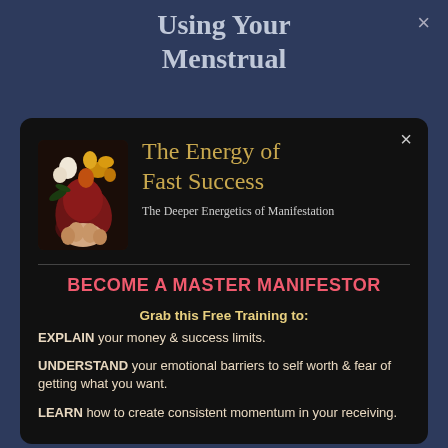Using Your Menstrual
The Energy of Fast Success
The Deeper Energetics of Manifestation
BECOME A MASTER MANIFESTOR
Grab this Free Training to:
EXPLAIN your money & success limits.
UNDERSTAND your emotional barriers to self worth & fear of getting what you want.
LEARN how to create consistent momentum in your receiving.